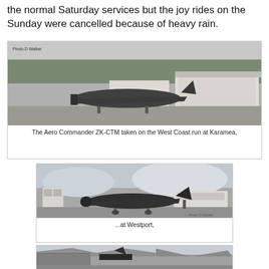the normal Saturday services but the joy rides on the Sunday were cancelled because of heavy rain.
[Figure (photo): Black and white photograph of an Aero Commander aircraft ZK-CTM on the ground at Karamea airfield, with a building in the background. Photo credit: D Walker.]
The Aero Commander ZK-CTM taken on the West Coast run at Karamea,
[Figure (photo): Black and white photograph of an aircraft at Westport airfield with buildings and mountains in background. Photo credit: D Walker.]
...at Westport,
[Figure (photo): Black and white photograph of an aircraft near a hangar with mountains in the background.]